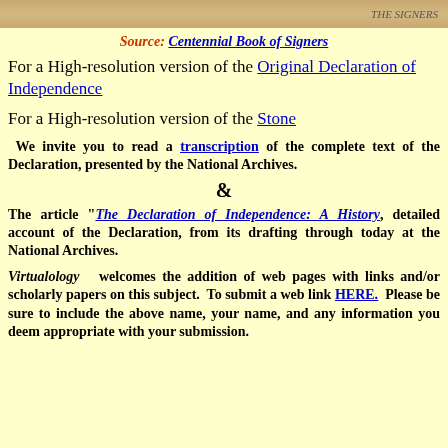[Figure (photo): Partial image of a historical document or portrait at the top of the page]
Source: Centennial Book of Signers
For a High-resolution version of the Original Declaration of Independence
For a High-resolution version of the Stone
We invite you to read a transcription of the complete text of the Declaration, presented by the National Archives.
&
The article "The Declaration of Independence: A History, detailed account of the Declaration, from its drafting through today at the National Archives.
Virtualology welcomes the addition of web pages with links and/or scholarly papers on this subject. To submit a web link HERE. Please be sure to include the above name, your name, and any information you deem appropriate with your submission.